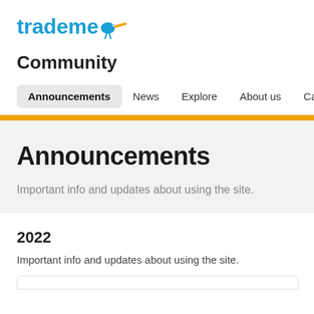[Figure (logo): Trade Me logo with stylized kiwi bird icon in blue and orange]
Community
Announcements | News | Explore | About us | Careers
Announcements
Important info and updates about using the site.
2022
Important info and updates about using the site.